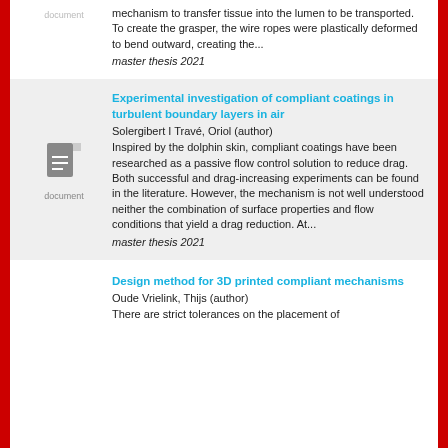mechanism to transfer tissue into the lumen to be transported. To create the grasper, the wire ropes were plastically deformed to bend outward, creating the...
master thesis 2021
document
Experimental investigation of compliant coatings in turbulent boundary layers in air
Solergibert I Travé, Oriol (author)
Inspired by the dolphin skin, compliant coatings have been researched as a passive flow control solution to reduce drag. Both successful and drag-increasing experiments can be found in the literature. However, the mechanism is not well understood neither the combination of surface properties and flow conditions that yield a drag reduction. At...
master thesis 2021
document
Design method for 3D printed compliant mechanisms
Oude Vrielink, Thijs (author)
There are strict tolerances on the placement of